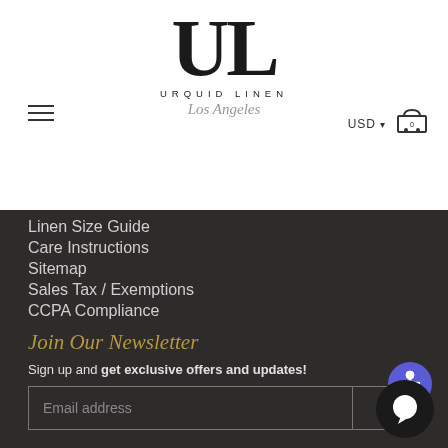[Figure (logo): Urquid Linen Los Angeles logo with large UL lettermark and script text]
Linen Size Guide
Care Instructions
Sitemap
Sales Tax / Exemptions
CCPA Compliance
Join Our Newsletter
Sign up and get exclusive offers and updates!
[Figure (screenshot): Email address input field with arrow submit button]